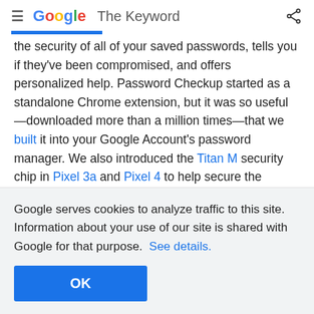≡ Google The Keyword [share icon]
the security of all of your saved passwords, tells you if they've been compromised, and offers personalized help. Password Checkup started as a standalone Chrome extension, but it was so useful—downloaded more than a million times—that we built it into your Google Account's password manager. We also introduced the Titan M security chip in Pixel 3a and Pixel 4 to help secure the operating system and your most sensitive on-device data.
Simpler controls in Google products
Google serves cookies to analyze traffic to this site. Information about your use of our site is shared with Google for that purpose.  See details.